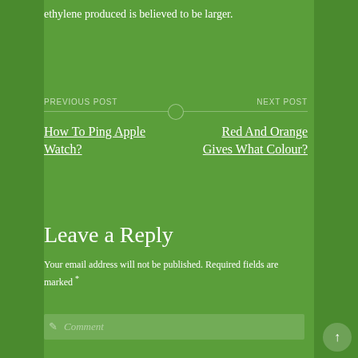ethylene produced is believed to be larger.
PREVIOUS POST
NEXT POST
How To Ping Apple Watch?
Red And Orange Gives What Colour?
Leave a Reply
Your email address will not be published. Required fields are marked *
Comment